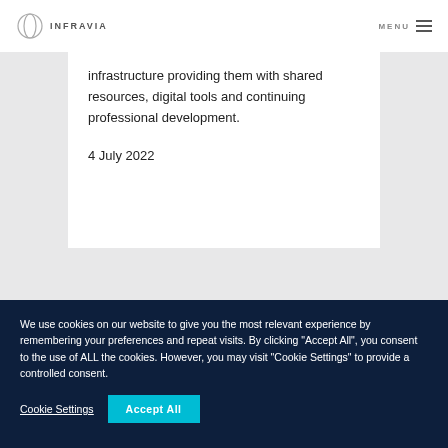INFRAVIA | MENU
infrastructure providing them with shared resources, digital tools and continuing professional development.
4 July 2022
We use cookies on our website to give you the most relevant experience by remembering your preferences and repeat visits. By clicking "Accept All", you consent to the use of ALL the cookies. However, you may visit "Cookie Settings" to provide a controlled consent.
Cookie Settings
Accept All